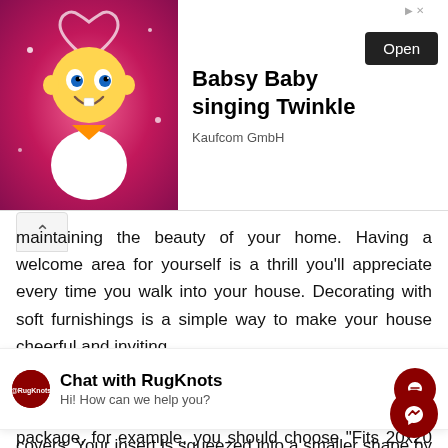[Figure (screenshot): Advertisement banner: animated baby character on pink background, 'Babsy Baby singing Twinkle' text, Kaufcom GmbH, Open button]
maintaining the beauty of your home. Having a welcome area for yourself is a thrill you'll appreciate every time you walk into your house. Decorating with soft furnishings is a simple way to make your house cheerful and inviting.
Please refer to the size on the packaging if you're using new inserts. If the insert is 20"x20" on the package, for example, you should choose "Fits 20x20 inserts" from the size drop down menu. If you're utilizing existing inserts and aren't sure what size they are
[Figure (screenshot): Chat popup: RugKnots logo, 'Chat with RugKnots', 'Hi! How can we help you?' with messenger icon]
covers. Your insert is squeezed into a smaller shape by th resulting in an incorrect measurement. If your inserts are c. cautious when selecting a size because the filler may have been